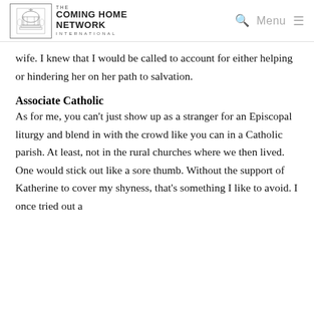The Coming Home Network International | Menu
wife. I knew that I would be called to account for either helping or hindering her on her path to salvation.
Associate Catholic
As for me, you can't just show up as a stranger for an Episcopal liturgy and blend in with the crowd like you can in a Catholic parish. At least, not in the rural churches where we then lived. One would stick out like a sore thumb. Without the support of Katherine to cover my shyness, that's something I like to avoid. I once tried out a